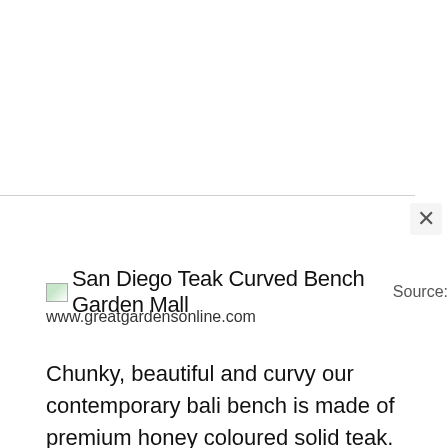[Figure (screenshot): White empty area at top of page, browser popup overlay]
San Diego Teak Curved Bench Garden Mall  Source: www.greatgardensonline.com
Chunky, beautiful and curvy our contemporary bali bench is made of premium honey coloured solid teak. Teak benches • your teak bench source • best selection &